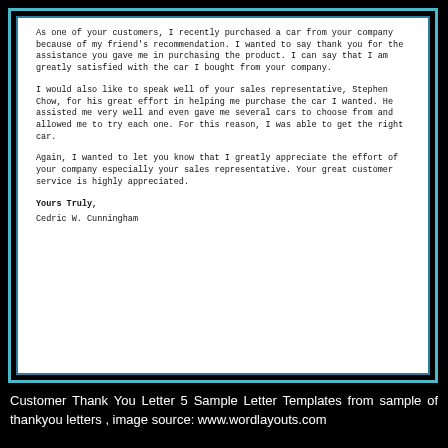As one of your customers, I recently purchased a car from your company because of my friend’s recommendation. I wanted to say thank you for the assistance you gave me in purchasing the product. I can say that I am greatly satisfied with the car I bought from your company.
I would also like to speak well of your sales representative, Stephen Chow, for his great effort in helping me purchase the car I wanted. He assisted me very well and even gave me several cars to choose from and allowed me to try each one. For this reason, I was able to get the right car.
Again, I wanted to let you know that I greatly appreciate the effort of your company especially your sales representative. Your great customer service is highly appreciated.
Yours Truly,
Cedric W. Cunningham
Customer Thank You Letter 5 Sample Letter Templates from sample of thankyou letters , image source: www.wordlayouts.com